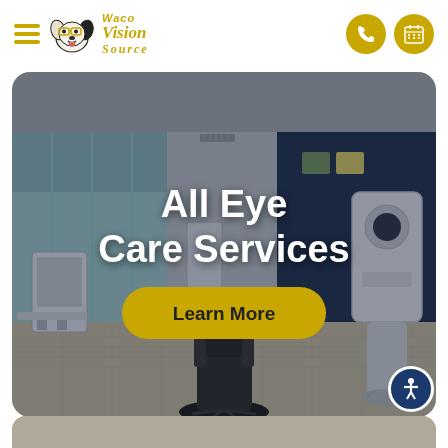[Figure (logo): Waco Vision Source logo with dog wearing glasses and gold text]
[Figure (photo): Eye care exam room interior with medical equipment, black chairs, blue accent wall, and overlay text 'All Eye Care Services' with a yellow 'Learn More' button]
[Figure (photo): Partial grey/beige surface visible at bottom of page below main hero image]